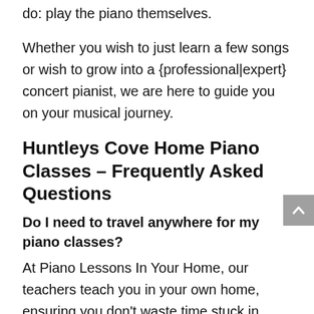do: play the piano themselves.
Whether you wish to just learn a few songs or wish to grow into a {professional|expert} concert pianist, we are here to guide you on your musical journey.
Huntleys Cove Home Piano Classes – Frequently Asked Questions
Do I need to travel anywhere for my piano classes?
At Piano Lessons In Your Home, our teachers teach you in your own home, ensuring you don't waste time stuck in